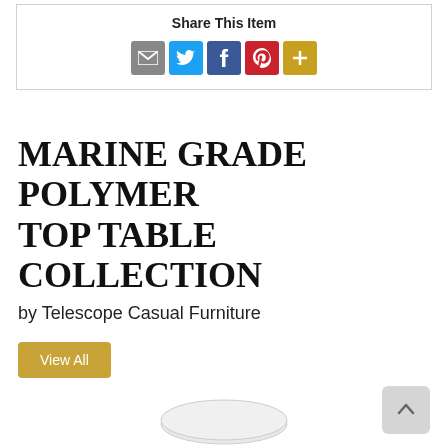Share This Item
[Figure (infographic): Social sharing icons: email (grey), Twitter (blue), Facebook (dark blue), Pinterest (red), More (gold/plus)]
MARINE GRADE POLYMER TOP TABLE COLLECTION
by Telescope Casual Furniture
View All
[Figure (photo): Product image: oval white marine grade polymer table top, viewed from above at slight angle]